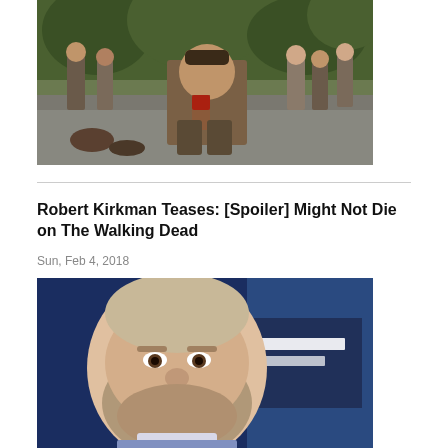[Figure (photo): Scene from The Walking Dead showing a man kneeling on the ground with a bloody arm, surrounded by people running in the background, outdoor daylight setting]
Robert Kirkman Teases: [Spoiler] Might Not Die on The Walking Dead
Sun, Feb 4, 2018
[Figure (photo): Portrait photo of Robert Kirkman, a heavyset bearded man smiling, photographed against a dark blue background at what appears to be a press event]